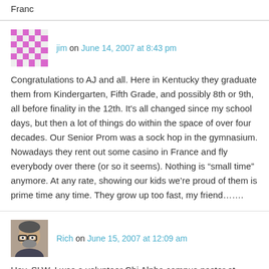Franc
jim on June 14, 2007 at 8:43 pm
Congratulations to AJ and all. Here in Kentucky they graduate them from Kindergarten, Fifth Grade, and possibly 8th or 9th, all before finality in the 12th. It's all changed since my school days, but then a lot of things do within the space of over four decades. Our Senior Prom was a sock hop in the gymnasium. Nowadays they rent out some casino in France and fly everybody over there (or so it seems). Nothing is “small time” anymore. At any rate, showing our kids we’re proud of them is prime time any time. They grow up too fast, my friend…….
Rich on June 15, 2007 at 12:09 am
Hey, SLW, I was a volunteer Chi Alpha campus pastor at Drury College in Springfield, Missouri: LOGOS Christian Fellowship. I was a campus minister back when volunteer campus ministers still got some cred. Nowadays I think you have to be a fully credentialed home missionary before you